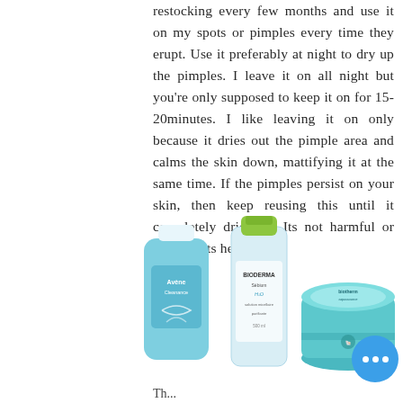restocking every few months and use it on my spots or pimples every time they erupt. Use it preferably at night to dry up the pimples. I leave it on all night but you're only supposed to keep it on for 15-20minutes. I like leaving it on only because it dries out the pimple area and calms the skin down, mattifying it at the same time. If the pimples persist on your skin, then keep reusing this until it completely dries up. Its not harmful or harsh as its herbal.
[Figure (photo): Three skincare products side by side: an Avène Cleanance gel bottle (blue/teal), a Bioderma Sébium H2O micellar water bottle (clear with green cap), and a teal/turquoise cream jar. A blue circular button with three dots (more options) is visible in the bottom right.]
Th... thi... i... ber... thi...